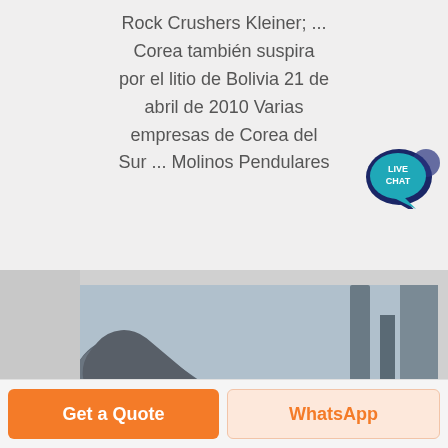Rock Crushers Kleiner; ... Corea también suspira por el litio de Bolivia 21 de abril de 2010 Varias empresas de Corea del Sur ... Molinos Pendulares
[Figure (photo): Industrial pendulum mill / rock crusher machinery — large grey metal pipes, hoppers, and roller mill components at an industrial facility]
Get a Quote
WhatsApp